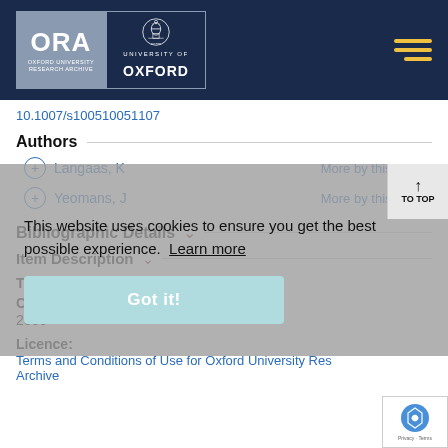[Figure (logo): ORA Oxford University Research Archive logo and University of Oxford crest logo on dark navy header bar with hamburger menu icon]
10.1007/s100510051107
Authors
+ Langaas, K  More by this author
+ Yeomans, J  More by this author
Bibliographic Details
Item Description
Terms of use
Copyright date:
2000
Licence:
Terms and Conditions of Use for Oxford University Research Archive
This website uses cookies to ensure you get the best possible experience. Learn more
Got it!